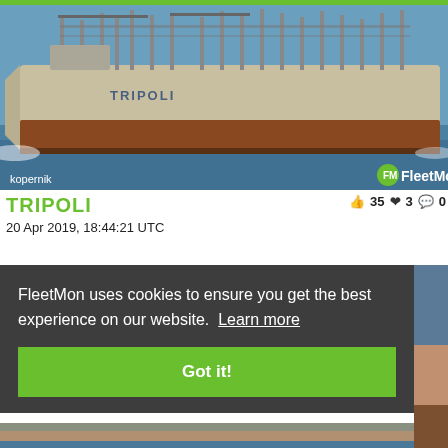[Figure (photo): Large cargo/livestock ship named TRIPOLI sailing on open sea, photographed from the side, showing vessel hull and superstructure. Credit: kopernik. FleetMon watermark bottom right.]
TRIPOLI
20 Apr 2019, 18:44:21 UTC
FleetMon uses cookies to ensure you get the best experience on our website. Learn more
Got it!
[Figure (photo): Partial view of another ship, cropped at right edge and bottom of the page.]